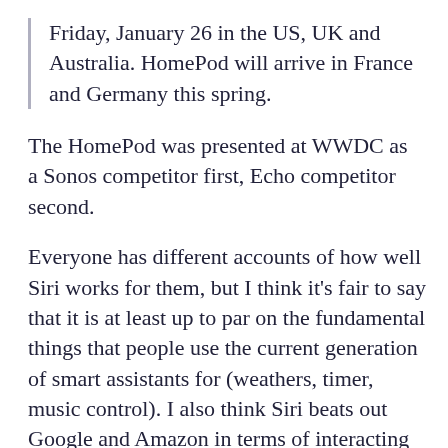Friday, January 26 in the US, UK and Australia. HomePod will arrive in France and Germany this spring.
The HomePod was presented at WWDC as a Sonos competitor first, Echo competitor second.
Everyone has different accounts of how well Siri works for them, but I think it’s fair to say that it is at least up to par on the fundamental things that people use the current generation of smart assistants for (weathers, timer, music control). I also think Siri beats out Google and Amazon in terms of interacting with smart home accessories using natural language, dependent on the user having HomeKit compatible equipment. No AI